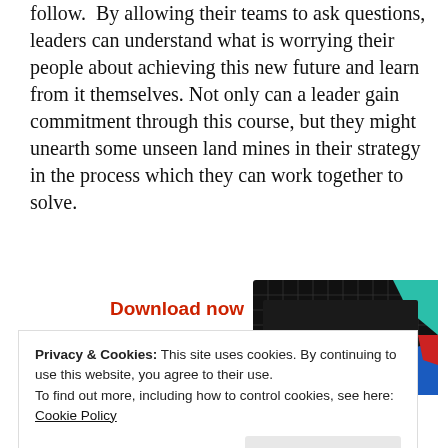follow.  By allowing their teams to ask questions, leaders can understand what is worrying their people about achieving this new future and learn from it themselves. Not only can a leader gain commitment through this course, but they might unearth some unseen land mines in their strategy in the process which they can work together to solve.
Download now
[Figure (other): Podcast cover art for '99% Invisible' showing dark grid background with colorful cards in teal, red, and blue]
Privacy & Cookies: This site uses cookies. By continuing to use this website, you agree to their use.
To find out more, including how to control cookies, see here:
Cookie Policy
Close and accept